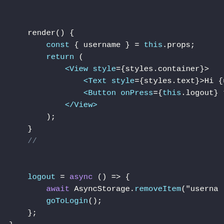[Figure (screenshot): Code editor screenshot showing JavaScript/React Native code with dark theme (Dracula-like). Code includes a render method returning JSX with View, Text, Button components, a logout async arrow function using AsyncStorage.removeItem and goToLogin(), and a StyleSheet.create call with container style having flex: 1.]